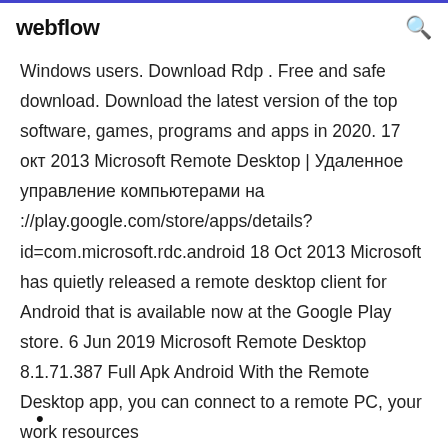webflow
Windows users. Download Rdp . Free and safe download. Download the latest version of the top software, games, programs and apps in 2020. 17 окт 2013 Microsoft Remote Desktop | Удаленное управление компьютерами на ://play.google.com/store/apps/details?id=com.microsoft.rdc.android 18 Oct 2013 Microsoft has quietly released a remote desktop client for Android that is available now at the Google Play store. 6 Jun 2019 Microsoft Remote Desktop 8.1.71.387 Full Apk Android With the Remote Desktop app, you can connect to a remote PC, your work resources
•